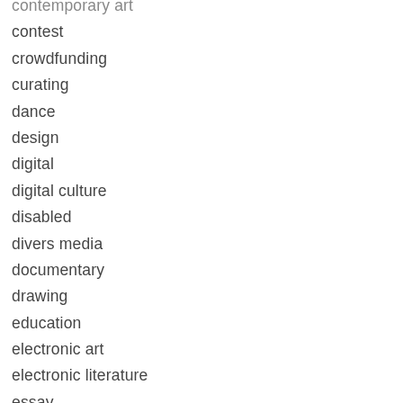contemporary art
contest
crowdfunding
curating
dance
design
digital
digital culture
disabled
divers media
documentary
drawing
education
electronic art
electronic literature
essay
exhibition
experimental music
fair